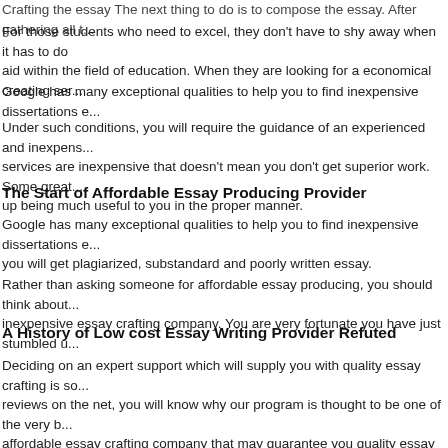Crafting the essay The next thing to do is to compose the essay. After gathering all t...
For those students who need to excel, they don't have to shy away when it has to do with aid within the field of education. When they are looking for a economical creating ser...
Google has many exceptional qualities to help you to find inexpensive dissertations e...
Under such conditions, you will require the guidance of an experienced and inexpens... services are inexpensive that doesn't mean you don't get superior work. Some great... up being much useful to you in the proper manner.
The Start of Affordable Essay Producing Provider
Google has many exceptional qualities to help you to find inexpensive dissertations e... you will get plagiarized, substandard and poorly written essay.
Rather than asking someone for affordable essay producing, you should think about... inexpensive essay crafting company. You are very fortunate you have just stumbled u...
A History of Low cost Essay Writing Provider Refuted
Deciding on an expert support which will supply you with quality essay crafting is so... reviews on the net, you will know why our program is thought to be one of the very b... affordable essay crafting company that may guarantee you quality essay help at reas...